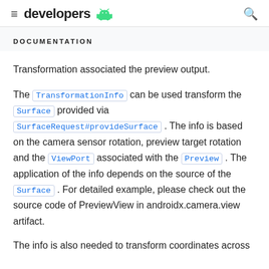developers
DOCUMENTATION
Transformation associated the preview output.
The TransformationInfo can be used transform the Surface provided via SurfaceRequest#provideSurface . The info is based on the camera sensor rotation, preview target rotation and the ViewPort associated with the Preview . The application of the info depends on the source of the Surface . For detailed example, please check out the source code of PreviewView in androidx.camera.view artifact.
The info is also needed to transform coordinates across